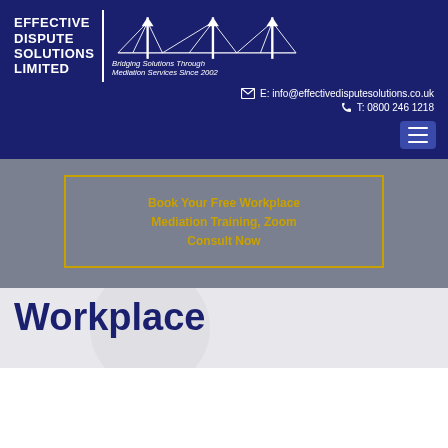[Figure (logo): Effective Dispute Solutions Limited logo with bridge graphic and tagline 'Bridging Solutions Through Mediation Services Since 2002']
E: info@effectivedisputesolutions.co.uk
T: 0800 246 1218
Book Your Free Workplace Mediation Training, Zoom Consult Now
Workplace